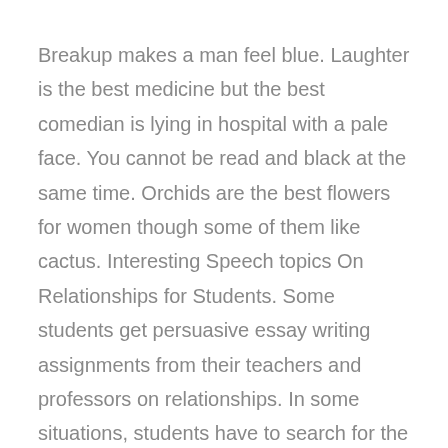Breakup makes a man feel blue. Laughter is the best medicine but the best comedian is lying in hospital with a pale face. You cannot be read and black at the same time. Orchids are the best flowers for women though some of them like cactus. Interesting Speech topics On Relationships for Students. Some students get persuasive essay writing assignments from their teachers and professors on relationships. In some situations, students have to search for the topic of an essay by themselves as well. In these types of conditions, students get worried to find a good and innovative topic that could seem unique for their assignment. But Students Assignment Help is giving every possible help to the students in funny Persuasive Speech Essay topics on relationships. Students have the option to choose a topic of their choice and to modify it